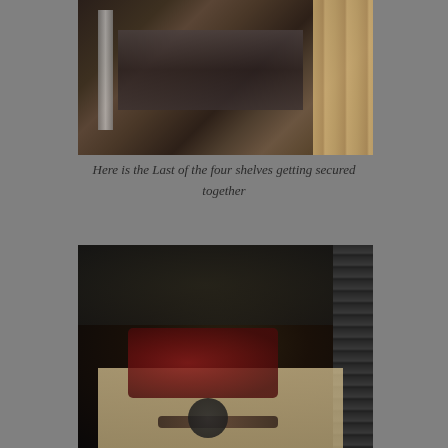[Figure (photo): Close-up photo of wooden shelves being assembled, showing lumber planks, metal rails, and construction materials on a dark surface]
Here is the Last of the four shelves getting secured together
[Figure (photo): Workshop photo showing red power tools (circular saw, drill, impact driver) and other hand tools laid out on a wooden surface, with a tool chest on the right and pegboard tool wall in the background]